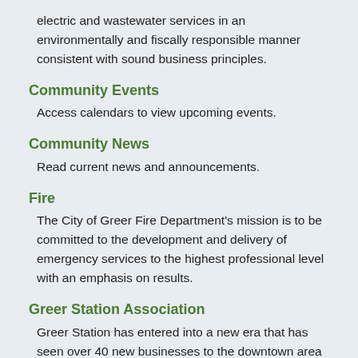electric and wastewater services in an environmentally and fiscally responsible manner consistent with sound business principles.
Community Events
Access calendars to view upcoming events.
Community News
Read current news and announcements.
Fire
The City of Greer Fire Department's mission is to be committed to the development and delivery of emergency services to the highest professional level with an emphasis on results.
Greer Station Association
Greer Station has entered into a new era that has seen over 40 new businesses to the downtown area with new streetscape improvements, restoration efforts on numerous buildings, and numerous events and festivals held in Greer...